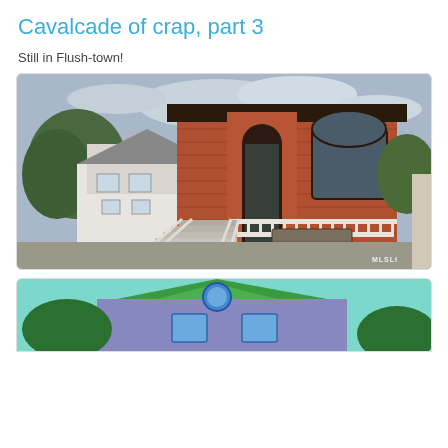Cavalcade of crap, part 3
Still in Flush-town!
[Figure (photo): A two-story red brick house with large arched windows, white balustrade staircase leading to a balcony, garage door below, and neighboring white house visible to the left. MLSLI watermark in bottom right.]
[Figure (photo): Partial view of a colorful house with blue/purple siding, green roof accent, and blue circular window, against a light blue-green sky.]